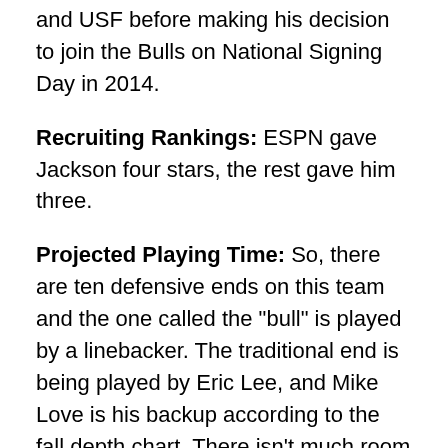and USF before making his decision to join the Bulls on National Signing Day in 2014.
Recruiting Rankings: ESPN gave Jackson four stars, the rest gave him three.
Projected Playing Time: So, there are ten defensive ends on this team and the one called the "bull" is played by a linebacker. The traditional end is being played by Eric Lee, and Mike Love is his backup according to the fall depth chart. There isn't much room on the field for the eight other DEs.
But, Jackson has been getting a lot of practice at that bull position and appears to be developing into a pretty solid threat to the backfield. He's a little heavy for the position, but is fast enough to rush the edge